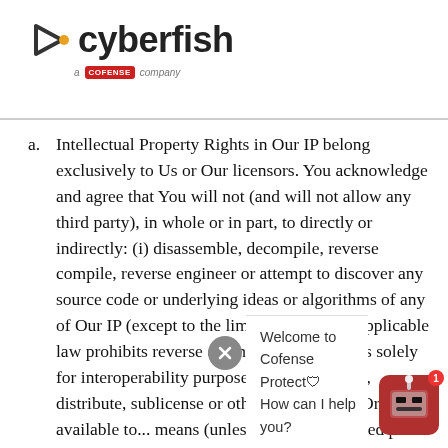[Figure (logo): Cyberfish logo with arrow symbol and 'a COFENSE company' badge beneath]
a. Intellectual Property Rights in Our IP belong exclusively to Us or Our licensors. You acknowledge and agree that You will not (and will not allow any third party), in whole or in part, to directly or indirectly: (i) disassemble, decompile, reverse compile, reverse engineer or attempt to discover any source code or underlying ideas or algorithms of any of Our IP (except to the limited extent that applicable law prohibits reverse engineering restrictions solely for interoperability purposes), (ii) sell, resell, distribute, sublicense or otherwise transfer, Our... of available to... means (unless We have provided prior written
Welcome to Cofense Protect
How can I help you?